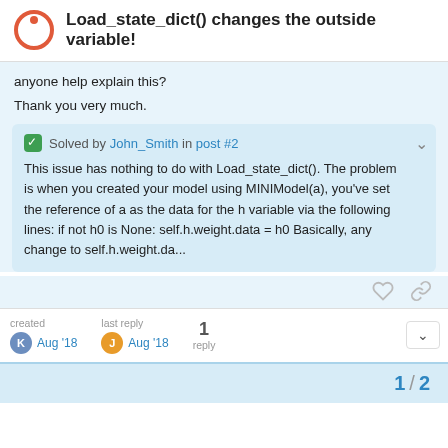Load_state_dict() changes the outside variable!
anyone help explain this?
Thank you very much.
✓ Solved by John_Smith in post #2
This issue has nothing to do with Load_state_dict(). The problem is when you created your model using MINIModel(a), you've set the reference of a as the data for the h variable via the following lines: if not h0 is None: self.h.weight.data = h0 Basically, any change to self.h.weight.da...
created
Aug '18
last reply
Aug '18
1
reply
1 / 2